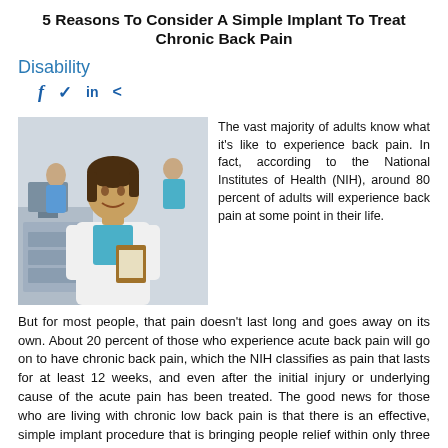5 Reasons To Consider A Simple Implant To Treat Chronic Back Pain
Disability
[Figure (photo): A smiling female healthcare professional in a white coat holding a clipboard, standing in a medical office environment with colleagues in the background.]
The vast majority of adults know what it’s like to experience back pain. In fact, according to the National Institutes of Health (NIH), around 80 percent of adults will experience back pain at some point in their life.
But for most people, that pain doesn’t last long and goes away on its own. About 20 percent of those who experience acute back pain will go on to have chronic back pain, which the NIH classifies as pain that lasts for at least 12 weeks, and even after the initial injury or underlying cause of the acute pain has been treated. The good news for those who are living with chronic low back pain is that there is an effective, simple implant procedure that is bringing people relief within only three weeks.